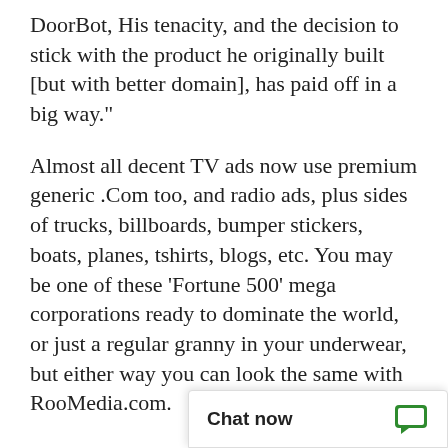DoorBot, His tenacity, and the decision to stick with the product he originally built [but with better domain], has paid off in a big way."
Almost all decent TV ads now use premium generic .Com too, and radio ads, plus sides of trucks, billboards, bumper stickers, boats, planes, tshirts, blogs, etc. You may be one of these 'Fortune 500' mega corporations ready to dominate the world, or just a regular granny in your underwear, but either way you can look the same with RooMedia.com.
DomainMarket.com is the only authorized pricing agent for this domain name, anyone else is a third party seller. Every domain price on this site is completed by top world experts from AccurateAppraisals.c
It's critical to secure y
[Figure (other): Chat now widget with speech bubble icon in green]